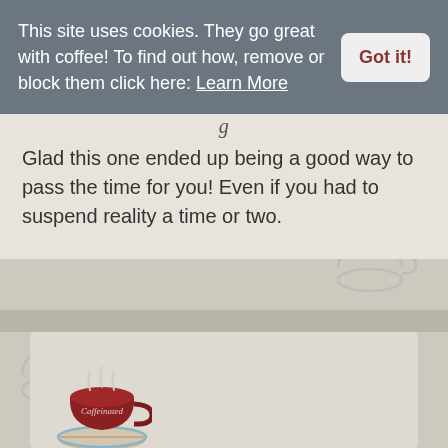This site uses cookies. They go great with coffee! To find out how, remove or block them click here: Learn More
Got it!
g
Glad this one ended up being a good way to pass the time for you! Even if you had to suspend reality a time or two.
[Figure (illustration): Red coffee cup with steam rising, labeled 'Caffeinated', sitting on a white saucer with a blue rim]
Kimbacaffeinate
June 12th, 2017
It was a fun read Stephanie.